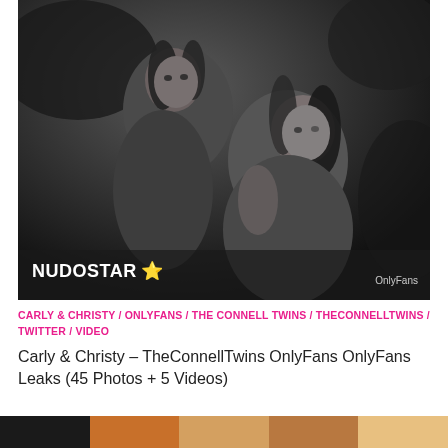[Figure (photo): Black and white photo of two women posed together on a bed, with NUDOSTAR star logo watermark in bottom left and OnlyFans watermark in bottom right]
CARLY & CHRISTY / ONLYFANS / THE CONNELL TWINS / THECONNELLTWINS / TWITTER / VIDEO
Carly & Christy – TheConnellTwins OnlyFans OnlyFans Leaks (45 Photos + 5 Videos)
[Figure (photo): Bottom strip showing partial thumbnail images]